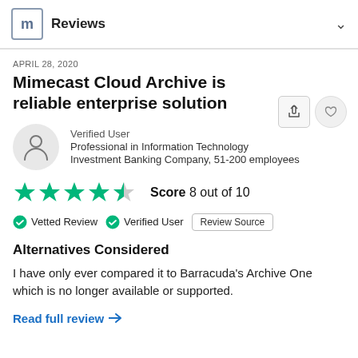Reviews
APRIL 28, 2020
Mimecast Cloud Archive is reliable enterprise solution
Verified User
Professional in Information Technology
Investment Banking Company, 51-200 employees
[Figure (other): Star rating: 4 teal stars and 1 partial star out of 5, with Score 8 out of 10]
Vetted Review   Verified User   Review Source
Alternatives Considered
I have only ever compared it to Barracuda's Archive One which is no longer available or supported.
Read full review →